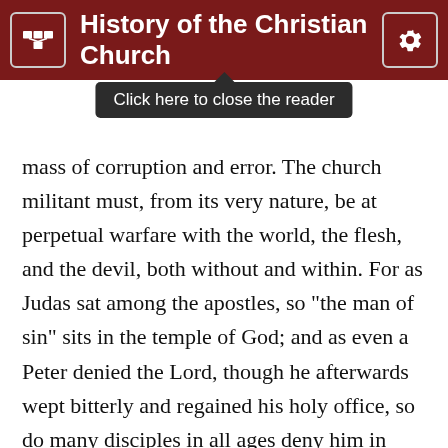History of the Christian Church
Click here to close the reader
mass of corruption and error. The church militant must, from its very nature, be at perpetual warfare with the world, the flesh, and the devil, both without and within. For as Judas sat among the apostles, so "the man of sin" sits in the temple of God; and as even a Peter denied the Lord, though he afterwards wept bitterly and regained his holy office, so do many disciples in all ages deny him in word and in deed.

But on the other hand, church history shows that God is ever stronger than Satan, and that his kingdom of light puts the kingdom of darkness to